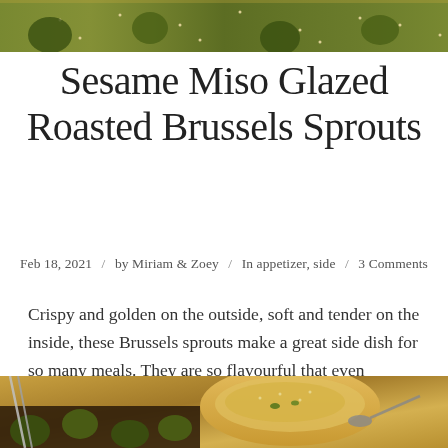[Figure (photo): Top portion of a food photo showing sesame miso glazed Brussels sprouts with sesame seeds and green herbs on top]
Sesame Miso Glazed Roasted Brussels Sprouts
Feb 18, 2021  /  by Miriam & Zoey  /  In appetizer, side  /  3 Comments
Crispy and golden on the outside, soft and tender on the inside, these Brussels sprouts make a great side dish for so many meals. They are so flavourful that even Brussels sprouts skeptics will find them hard to resist!
[Figure (photo): Bottom portion of a food photo showing roasted Brussels sprouts with a bowl of miso glaze sauce and tongs]